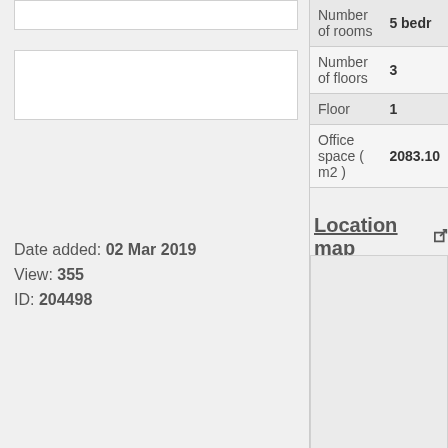[Figure (photo): Top image placeholder box (white rectangle)]
[Figure (photo): Middle image placeholder box (white rectangle)]
Date added: 02 Mar 2019
View: 355
ID: 204498
| Property | Value |
| --- | --- |
| Number of rooms | 5 bedr... |
| Number of floors | 3 |
| Floor | 1 |
| Office space ( m2 ) | 2083.10 |
Location map
[Figure (map): Location map placeholder box]